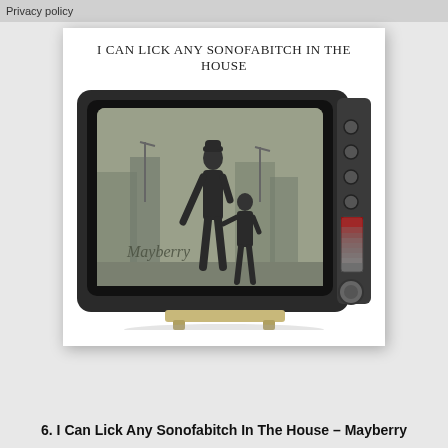Privacy policy
[Figure (illustration): Album cover for 'I Can Lick Any Sonofabitch In The House – Mayberry'. Shows a vintage CRT television set with a black-and-white screen displaying silhouettes of an adult and child holding hands in a city street scene. The word 'Mayberry' appears in cursive on the screen. The album title 'I CAN LICK ANY SONOFABITCH IN THE HOUSE' is printed above the TV on a white background. The whole image is framed like a photograph with white borders.]
6. I Can Lick Any Sonofabitch In The House – Mayberry